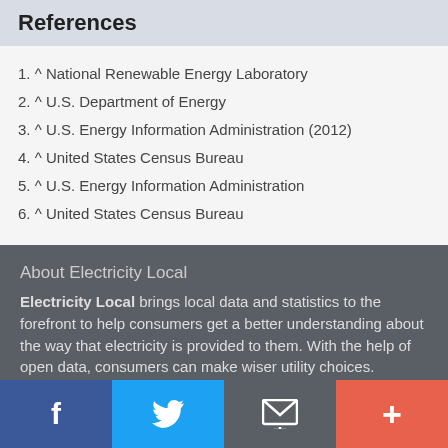References
1. ^ National Renewable Energy Laboratory
2. ^ U.S. Department of Energy
3. ^ U.S. Energy Information Administration (2012)
4. ^ United States Census Bureau
5. ^ U.S. Energy Information Administration
6. ^ United States Census Bureau
About Electricity Local
Electricity Local brings local data and statistics to the forefront to help consumers get a better understanding about the way that electricity is provided to them. With the help of open data, consumers can make wiser utility choices.
f | Twitter | email | +